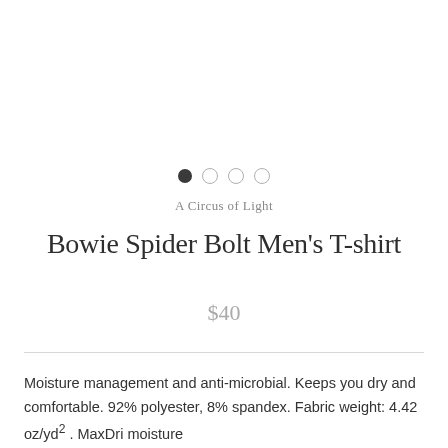[Figure (other): Image carousel dot indicators: one filled dark dot and three open/outline dots indicating the first of four product images is selected]
A Circus of Light
Bowie Spider Bolt Men's T-shirt
$40
Moisture management and anti-microbial. Keeps you dry and comfortable. 92% polyester, 8% spandex. Fabric weight: 4.42 oz/yd² . MaxDri moisture